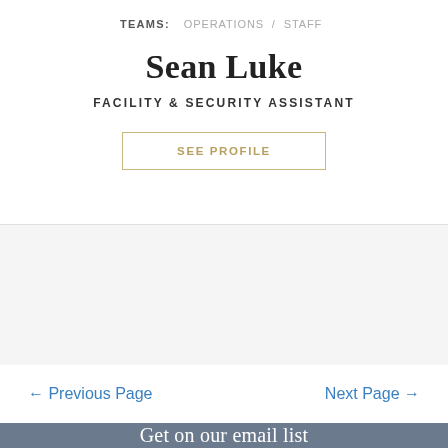TEAMS: OPERATIONS / STAFF
Sean Luke
FACILITY & SECURITY ASSISTANT
SEE PROFILE
← Previous Page
Next Page →
Get on our email list